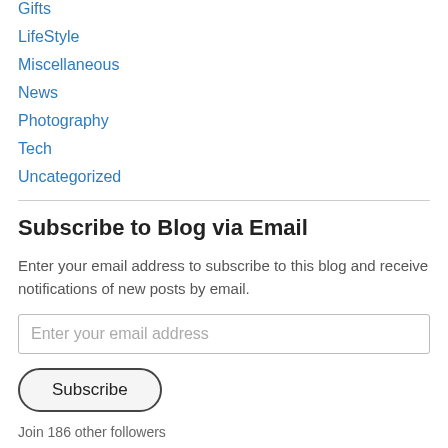Gifts
LifeStyle
Miscellaneous
News
Photography
Tech
Uncategorized
Subscribe to Blog via Email
Enter your email address to subscribe to this blog and receive notifications of new posts by email.
Enter your email address
Subscribe
Join 186 other followers